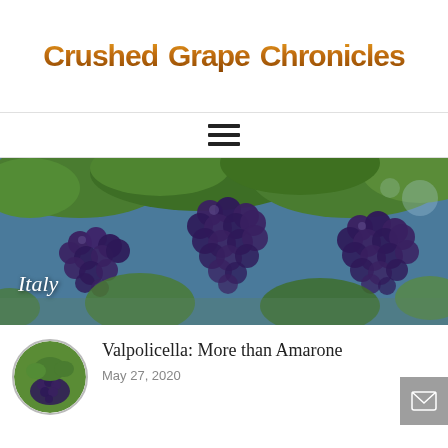[Figure (logo): Crushed Grape Chronicles text logo in orange-gold gradient serif style]
[Figure (other): Hamburger/menu icon — three horizontal lines]
[Figure (photo): Hero photo of dark purple grapes hanging on vines with green leaves, with 'Italy' label overlay]
[Figure (photo): Circular thumbnail of vineyard grapes on green background]
Valpolicella: More than Amarone
May 27, 2020